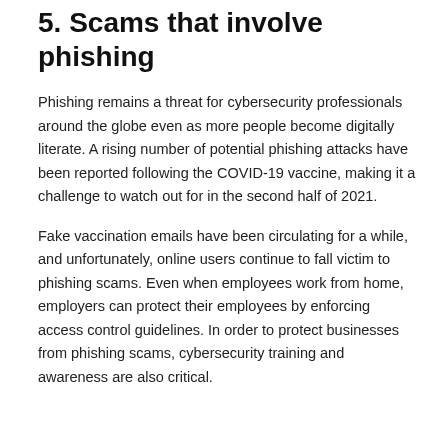5. Scams that involve phishing
Phishing remains a threat for cybersecurity professionals around the globe even as more people become digitally literate. A rising number of potential phishing attacks have been reported following the COVID-19 vaccine, making it a challenge to watch out for in the second half of 2021.
Fake vaccination emails have been circulating for a while, and unfortunately, online users continue to fall victim to phishing scams. Even when employees work from home, employers can protect their employees by enforcing access control guidelines. In order to protect businesses from phishing scams, cybersecurity training and awareness are also critical.